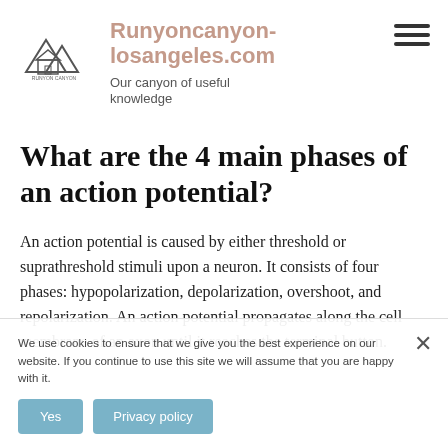Runyoncanyon-losangeles.com
Our canyon of useful knowledge
What are the 4 main phases of an action potential?
An action potential is caused by either threshold or suprathreshold stimuli upon a neuron. It consists of four phases: hypopolarization, depolarization, overshoot, and repolarization. An action potential propagates along the cell membrane of an axon until it reaches the terminal button.
We use cookies to ensure that we give you the best experience on our website. If you continue to use this site we will assume that you are happy with it.